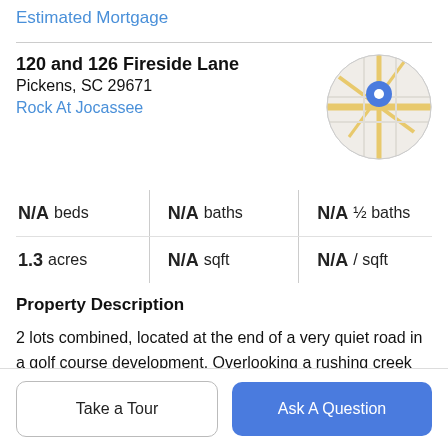Estimated Mortgage
120 and 126 Fireside Lane
Pickens, SC 29671
Rock At Jocassee
[Figure (map): Circular map thumbnail showing street map with a blue location pin marker]
N/A beds | N/A baths | N/A ½ baths
1.3 acres | N/A sqft | N/A / sqft
Property Description
2 lots combined, located at the end of a very quiet road in a golf course development. Overlooking a rushing creek that can be heard from anywhere on the property. The Rock at Jocasse offers Golf, and a clubhouse/restaurant.
Take a Tour
Ask A Question